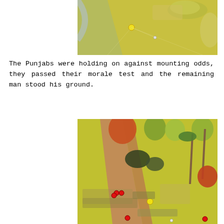[Figure (photo): Overhead view of a wargaming tabletop battlefield with yellow-green terrain, a small yellow marker, trees, and unit figures.]
The Punjabs were holding on against mounting odds, they passed their morale test and the remaining man stood his ground.
[Figure (photo): Overhead view of a wargaming tabletop with trees, a road/path, miniature soldiers, red and yellow markers, and various terrain features.]